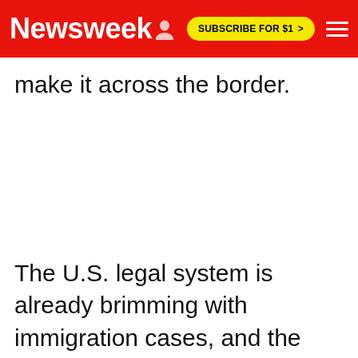Newsweek | SUBSCRIBE FOR $1 >
make it across the border.
The U.S. legal system is already brimming with immigration cases, and the influx of child